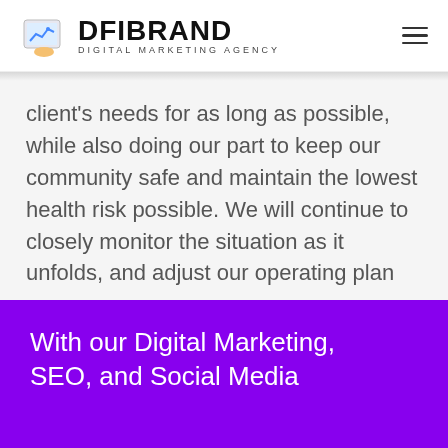DFIBRAND DIGITAL MARKETING AGENCY
client's needs for as long as possible, while also doing our part to keep our community safe and maintain the lowest health risk possible. We will continue to closely monitor the situation as it unfolds, and adjust our operating plan as necessary.
With our Digital Marketing, SEO, and Social Media